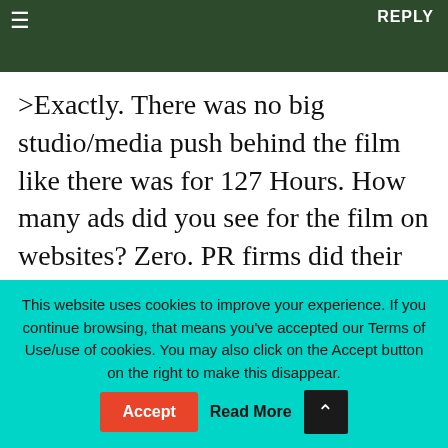REPLY
>Exactly. There was no big studio/media push behind the film like there was for 127 Hours. How many ads did you see for the film on websites? Zero. PR firms did their jobs but there were no Google AdSense or other ads at all. < 127 hours costed $30 million and WTTR around $4.5 million. Shouldn't we compare it to other indie movies with a small budget?
This website uses cookies to improve your experience. If you continue browsing, that means you've accepted our Terms of Use/use of cookies. You may also click on the Accept button on the right to make this disappear. Accept Read More